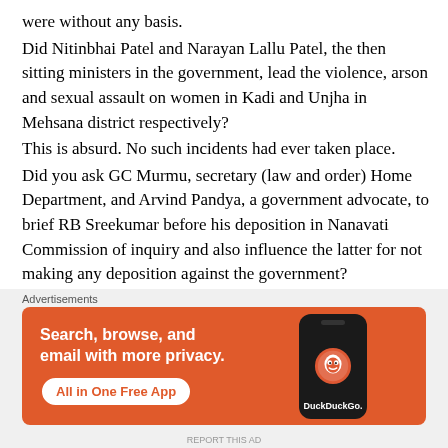were without any basis. Did Nitinbhai Patel and Narayan Lallu Patel, the then sitting ministers in the government, lead the violence, arson and sexual assault on women in Kadi and Unjha in Mehsana district respectively? This is absurd. No such incidents had ever taken place. Did you ask GC Murmu, secretary (law and order) Home Department, and Arvind Pandya, a government advocate, to brief RB Sreekumar before his deposition in Nanavati Commission of inquiry and also influence the latter for not making any deposition against the government? No. This allegation is false and baseless.
[Figure (other): DuckDuckGo advertisement banner with orange background showing 'Search, browse, and email with more privacy. All in One Free App' with a phone graphic and DuckDuckGo logo]